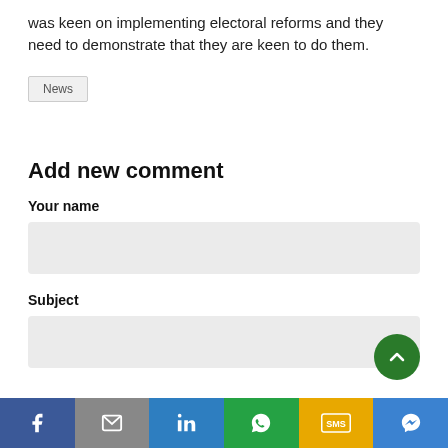was keen on implementing electoral reforms and they need to demonstrate that they are keen to do them.
News
Add new comment
Your name
Subject
Social share bar: Facebook, Email, LinkedIn, WhatsApp, SMS, Messenger